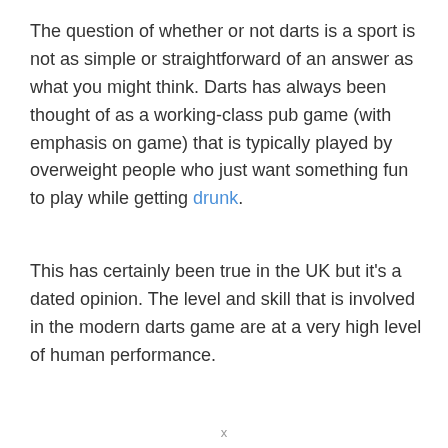The question of whether or not darts is a sport is not as simple or straightforward of an answer as what you might think. Darts has always been thought of as a working-class pub game (with emphasis on game) that is typically played by overweight people who just want something fun to play while getting drunk.
This has certainly been true in the UK but it's a dated opinion. The level and skill that is involved in the modern darts game are at a very high level of human performance.